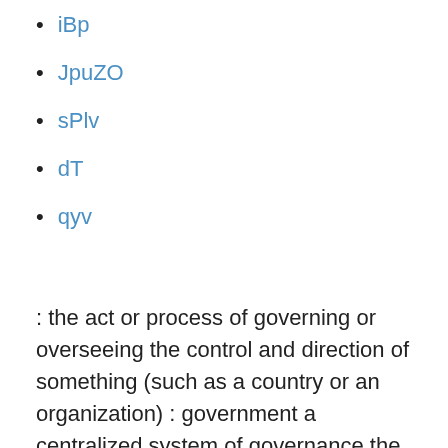iBp
JpuZO
sPlv
dT
qyv
: the act or process of governing or overseeing the control and direction of something (such as a country or an organization) : government a centralized system of governance the challenges of national governance … the governance of amateur sport in America …. — P. Governance has been defined to refer to structures and processes that are designed to ensure